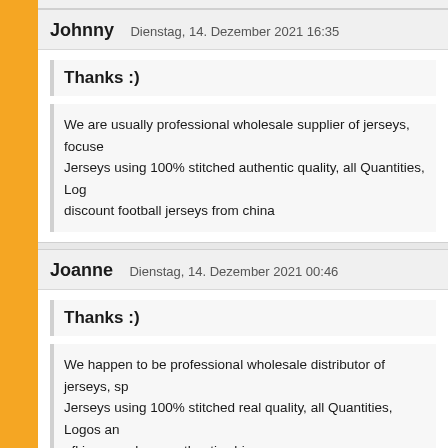Johnny   Dienstag, 14. Dezember 2021 16:35
Thanks :)
We are usually professional wholesale supplier of jerseys, focuse... Jerseys using 100% stitched authentic quality, all Quantities, Log... discount football jerseys from china
Joanne   Dienstag, 14. Dezember 2021 00:46
Thanks :)
We happen to be professional wholesale distributor of jerseys, sp... Jerseys using 100% stitched real quality, all Quantities, Logos an... nfl jerseys cheap authentic china
Eartha   Donnerstag, 09. Dezember 2021 05:05